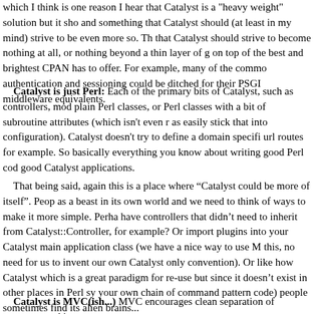which I think is one reason I hear that Catalyst is a "heavy weight" solution but it should and something that Catalyst should (at least in my mind) strive to be even more so. That Catalyst should strive to become nothing at all, or nothing beyond a thin layer of glue on top of the best and brightest CPAN has to offer. For example, many of the common authentication and sessioning could be ditched for their PSGI middleware equivalents.
Catalyst is just Perl: Each of the primary bits of Catalyst, such as controllers, models are plain Perl classes, or Perl classes with a bit of subroutine attributes (which isn't even required, as easily stick that into configuration). Catalyst doesn't try to define a domain specific language for url routes for example. So basically everything you know about writing good Perl code applies to good Catalyst applications.
That being said, again this is a place where “Catalyst could be more of itself”. People see it as a beast in its own world and we need to think of ways to make it more simple. Perhaps we could have controllers that didn't need to inherit from Catalyst::Controller, for example? Or no need to import plugins into your Catalyst main application class (we have a nice way to use Moose roles for this, no need for us to invent our own Catalyst only convention). Or like how Catalyst has chained actions, which is a great paradigm for re-use but since it doesn't exist in other places in Perl syntax (unless you write your own chain of command pattern code) people sometimes find its alien brains...
Catalyst is MVC(ish...) MVC encourages clean separation of concerns, and in general Catalyst does this too...